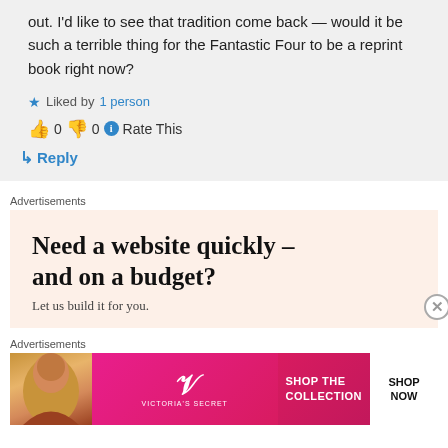out. I'd like to see that tradition come back — would it be such a terrible thing for the Fantastic Four to be a reprint book right now?
Liked by 1 person
👍 0 👎 0 ℹ Rate This
↳ Reply
Advertisements
[Figure (other): Advertisement: 'Need a website quickly – and on a budget? Let us build it for you.' on a light peach background]
Advertisements
[Figure (other): Victoria's Secret advertisement with pink background: 'SHOP THE COLLECTION' and 'SHOP NOW' button]